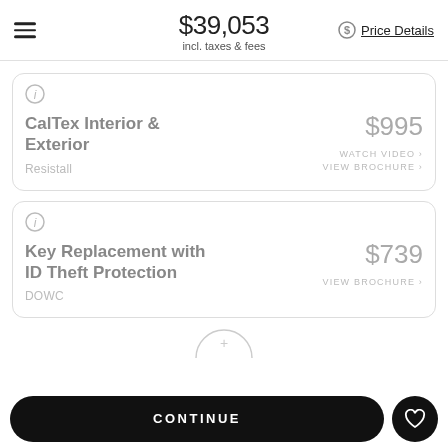$39,053 incl. taxes & fees Price Details
CalTex Interior & Exterior
Resistall
$995
WATCH VIDEO ›
VIEW BROCHURE ›
Key Replacement with ID Theft Protection
DOWC
$739
VIEW BROCHURE ›
CONTINUE